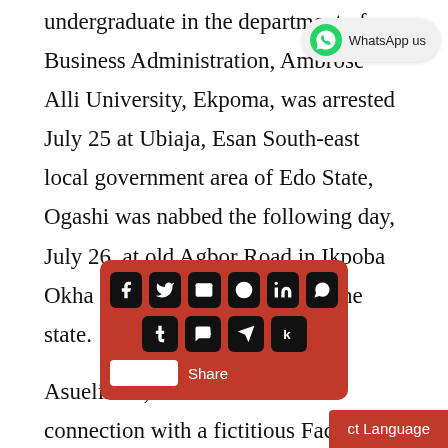undergraduate in the department of Business Administration, Ambrose Alli University, Ekpoma, was arrested July 25 at Ubiaja, Esan South-east local government area of Edo State, Ogashi was nabbed the following day, July 26, at old Agbor Road in Ikpoba Okha local government area of the state. Asuelimen, who was arrested in connection with a fictitious Facebook account he created in [obscured], said “I know why[obscured] a Facebook[obscured]
[Figure (other): WhatsApp us button in top right corner]
[Figure (infographic): Social share overlay with icons for Facebook, Twitter, Email, Reddit, LinkedIn, WhatsApp, Tumblr, SMS, Telegram, Kinja, and a Share label with input field]
[Figure (other): Select Language red bar at bottom right]